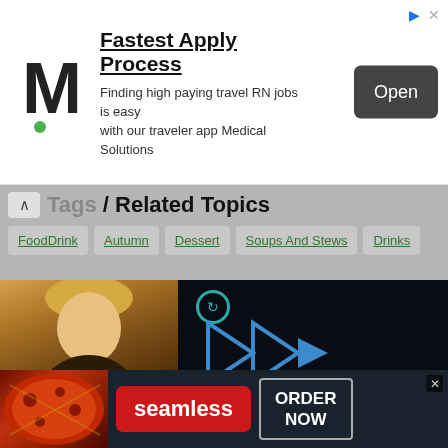[Figure (screenshot): Top advertisement banner for Medical Solutions job app showing M logo, 'Fastest Apply Process' headline, subtitle about travel RN jobs, and 'Open' button]
Tags / Related Topics
FoodDrink
Autumn
Dessert
Soups And Stews
Drinks
[Figure (screenshot): Video player area showing a blonde woman looking at phone on left, dark overlay with blue play/forward icons and mute button on right, reload icon at top]
[Figure (screenshot): Bottom advertisement banner showing pizza image on left, Seamless red logo in center, and ORDER NOW button on right]